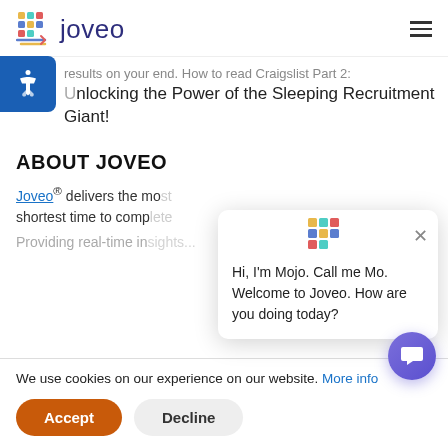[Figure (logo): Joveo logo with colorful grid icon and dark blue text 'joveo']
results on your end. How to read Craigslist Part 2:
Unlocking the Power of the Sleeping Recruitment Giant!
ABOUT JOVEO
Joveo® delivers the most relevant job ads in the shortest time to comp... Providing real-time in...
We use cookies on our experience on our website. More info
Accept Decline